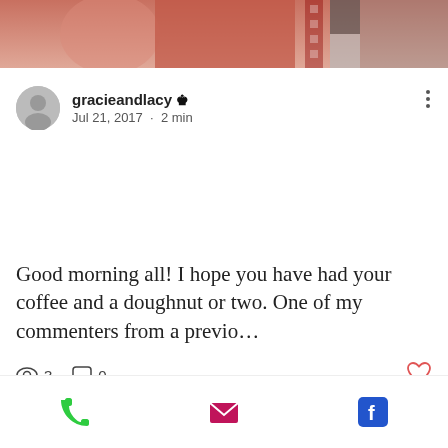[Figure (photo): Partial photo at top showing person in red outfit with film strip border]
gracieandlacy 👑 Jul 21, 2017 · 2 min
Good morning all! I hope you have had your coffee and a doughnut or two. One of my commenters from a previo…
3   0
[Figure (infographic): Bottom bar with phone, email, and Facebook icons]